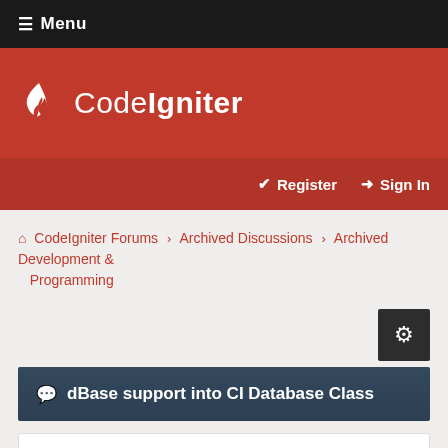≡ Menu
[Figure (logo): CodeIgniter flame logo with text 'CodeIgniter' in white on red background]
✔ Register  ➔ Sign In
⌂ CodeIgniter Forums › Archived Discussions › Archived Development & Programming
dBase support into CI Database Class
El Forum
Guest